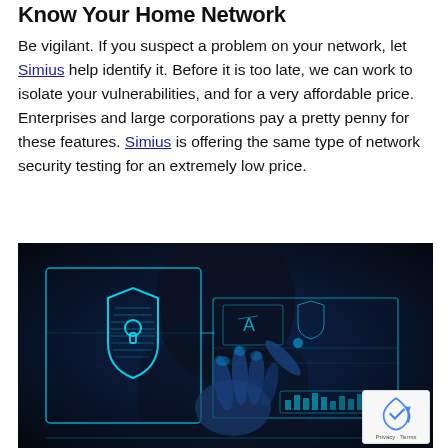Know Your Home Network
Be vigilant. If you suspect a problem on your network, let Simius help identify it. Before it is too late, we can work to isolate your vulnerabilities, and for a very affordable price. Enterprises and large corporations pay a pretty penny for these features. Simius is offering the same type of network security testing for an extremely low price.
[Figure (photo): A person's glowing blue hand interacting with a digital holographic interface showing a cybersecurity shield icon with a keyhole, futuristic data panels, and network security UI elements against a dark blue background.]